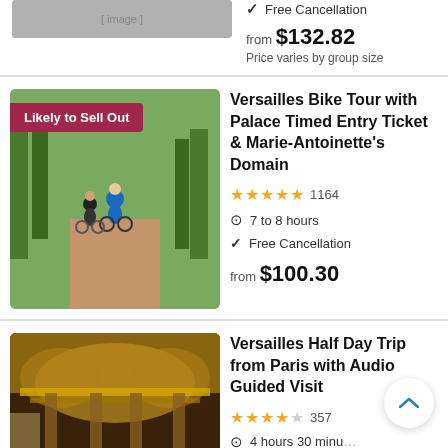✓ Free Cancellation
from $132.82
Price varies by group size
[Figure (photo): Group of cyclists on a tree-lined path at Versailles with a 'Likely to Sell Out' badge]
Versailles Bike Tour with Palace Timed Entry Ticket & Marie-Antoinette's Domain
★★★★★ 1164
🕐 7 to 8 hours
✓ Free Cancellation
from $100.30
[Figure (photo): Interior of the Hall of Mirrors or gilded hall at Versailles Palace]
Versailles Half Day Trip from Paris with Audio Guided Visit
★★★★☆ 357
🕐 4 hours 30 minutes
✓ Free Cancellation